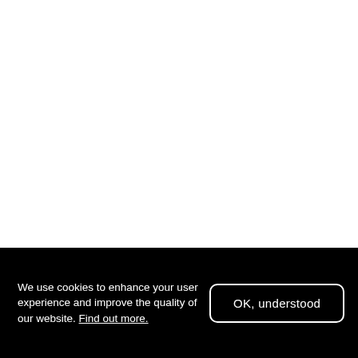[Figure (other): White blank area occupying the upper portion of the page]
We use cookies to enhance your user experience and improve the quality of our website. Find out more.